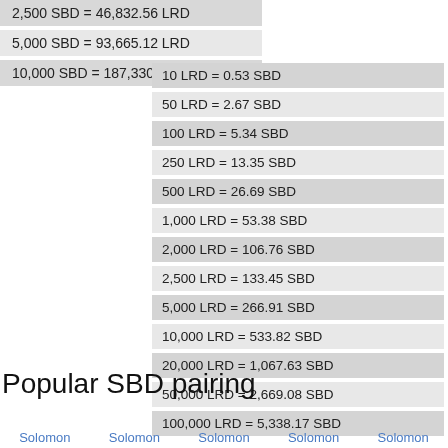2,500 SBD = 46,832.56 LRD
5,000 SBD = 93,665.12 LRD
10,000 SBD = 187,330.24 LRD
10 LRD = 0.53 SBD
50 LRD = 2.67 SBD
100 LRD = 5.34 SBD
250 LRD = 13.35 SBD
500 LRD = 26.69 SBD
1,000 LRD = 53.38 SBD
2,000 LRD = 106.76 SBD
2,500 LRD = 133.45 SBD
5,000 LRD = 266.91 SBD
10,000 LRD = 533.82 SBD
20,000 LRD = 1,067.63 SBD
50,000 LRD = 2,669.08 SBD
100,000 LRD = 5,338.17 SBD
250,000 LRD = 13,345.42 SBD
500,000 LRD = 26,690.83 SBD
Popular SBD pairing
Solomon  Solomon  Solomon  Solomon  Solomon